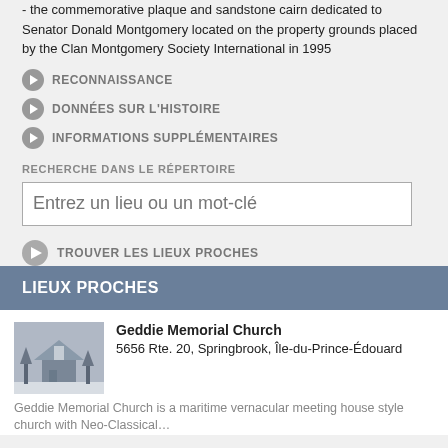- the commemorative plaque and sandstone cairn dedicated to Senator Donald Montgomery located on the property grounds placed by the Clan Montgomery Society International in 1995
RECONNAISSANCE
DONNÉES SUR L'HISTOIRE
INFORMATIONS SUPPLÉMENTAIRES
RECHERCHE DANS LE RÉPERTOIRE
Entrez un lieu ou un mot-clé
TROUVER LES LIEUX PROCHES
LIEUX PROCHES
[Figure (photo): Black and white photo of Geddie Memorial Church in winter]
Geddie Memorial Church
5656 Rte. 20, Springbrook, Île-du-Prince-Édouard
Geddie Memorial Church is a maritime vernacular meeting house style church with Neo-Classical…